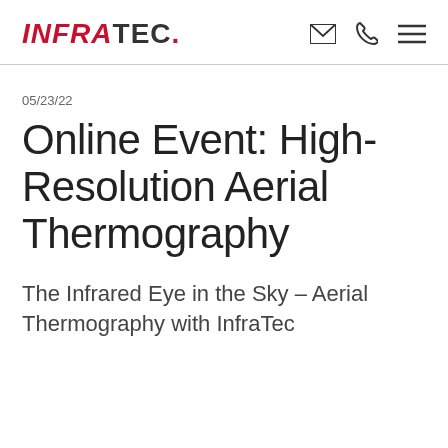InfraTec.
05/23/22
Online Event: High-Resolution Aerial Thermography
The Infrared Eye in the Sky – Aerial Thermography with InfraTec